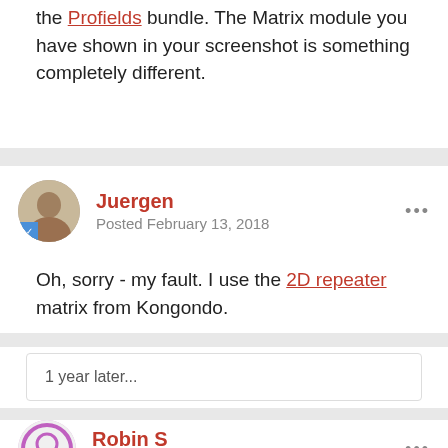the Profields bundle. The Matrix module you have shown in your screenshot is something completely different.
Juergen
Posted February 13, 2018
Oh, sorry - my fault. I use the 2D repeater matrix from Kongondo.
1 year later...
Robin S
Posted July 21, 2019
v0.1.4 released. This version adds support for some